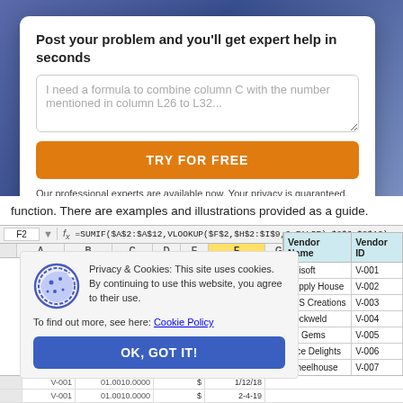Post your problem and you'll get expert help in seconds
I need a formula to combine column C with the number mentioned in column L26 to L32...
TRY FOR FREE
Our professional experts are available now. Your privacy is guaranteed.
function. There are examples and illustrations provided as a guide.
=SUMIF($A$2:$A$12,VLOOKUP($F$2,$H$2:$I$9,2,FALSE),$C$2:$C$12)
[Figure (screenshot): Excel spreadsheet showing columns A through I with formula bar displaying SUMIF VLOOKUP formula]
Privacy & Cookies: This site uses cookies. By continuing to use this website, you agree to their use.

To find out more, see here: Cookie Policy
OK, GOT IT!
| Vendor Name | Vendor ID |
| --- | --- |
| Abisoft | V-001 |
| Supply House | V-002 |
| JHS Creations | V-003 |
| Rockweld | V-004 |
| CJ Gems | V-005 |
| Nice Delights | V-006 |
| Wheelhouse | V-007 |
| Jack and Co | V-008 |